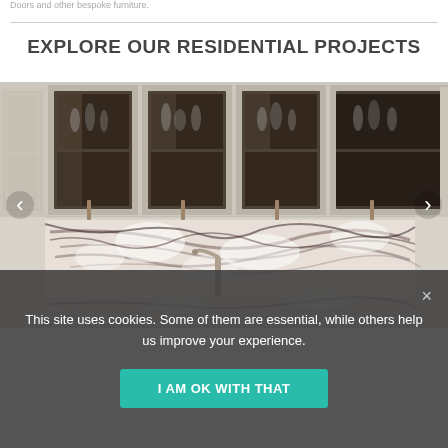Doors and other bespoke furniture.
EXPLORE OUR RESIDENTIAL PROJECTS
[Figure (photo): Interior photo of a luxury kitchen with cream/white painted cabinetry with glass-fronted upper cabinets showing glassware, and a dramatic black and white veined marble backsplash and countertop. A stainless steel faucet is visible.]
This site uses cookies. Some of them are essential, while others help us improve your experience.
I AM OK WITH THAT